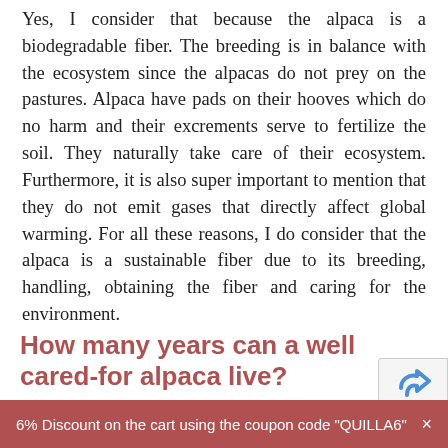Yes, I consider that because the alpaca is a biodegradable fiber. The breeding is in balance with the ecosystem since the alpacas do not prey on the pastures. Alpaca have pads on their hooves which do no harm and their excrements serve to fertilize the soil. They naturally take care of their ecosystem. Furthermore, it is also super important to mention that they do not emit gases that directly affect global warming. For all these reasons, I do consider that the alpaca is a sustainable fiber due to its breeding, handling, obtaining the fiber and caring for the environment.
How many years can a well cared-for alpaca live?
6% Discount on the cart using the coupon code "QUILLA6"